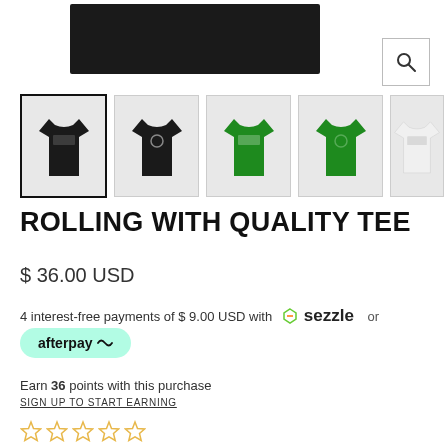[Figure (photo): Top portion of a dark/black t-shirt product photo]
[Figure (photo): Row of 5 t-shirt thumbnail images: black front, black back, green front, green back, white front]
ROLLING WITH QUALITY TEE
$ 36.00 USD
4 interest-free payments of $ 9.00 USD with Sezzle or afterpay
Earn 36 points with this purchase
SIGN UP TO START EARNING
[Figure (other): Star rating: 5 empty gold stars]